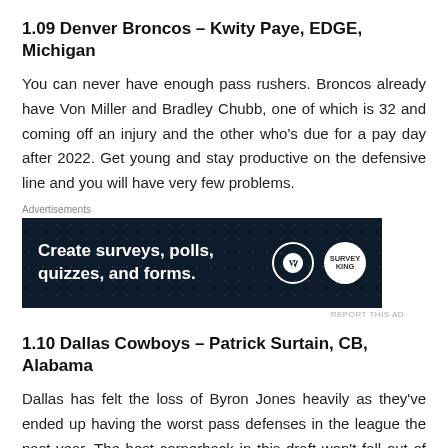1.09 Denver Broncos – Kwity Paye, EDGE, Michigan
You can never have enough pass rushers. Broncos already have Von Miller and Bradley Chubb, one of which is 32 and coming off an injury and the other who's due for a pay day after 2022. Get young and stay productive on the defensive line and you will have very few problems.
[Figure (other): Advertisement banner for a survey and poll creation tool showing text 'Create surveys, polls, quizzes, and forms.' with WordPress and SurveyMonkey logos on a dark navy background.]
1.10 Dallas Cowboys – Patrick Surtain, CB, Alabama
Dallas has felt the loss of Byron Jones heavily as they've ended up having the worst pass defenses in the league the past year. The best cornerback in this draft won't fall out of the top 10 and slips to Dallas in my first mock, and can hopefully be a cure to their issues